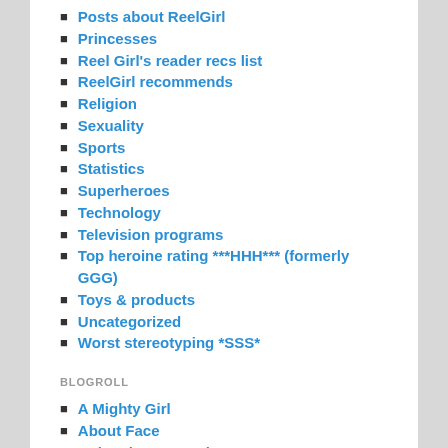Posts about ReelGirl
Princesses
Reel Girl's reader recs list
ReelGirl recommends
Religion
Sexuality
Sports
Statistics
Superheroes
Technology
Television programs
Top heroine rating ***HHH*** (formerly GGG)
Toys & products
Uncategorized
Worst stereotyping *SSS*
BLOGROLL
A Mighty Girl
About Face
Animation Anomaly
Be A Girl Today